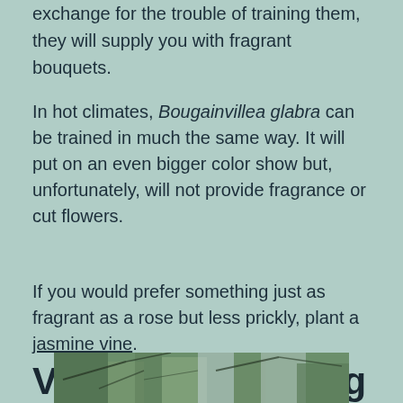exchange for the trouble of training them, they will supply you with fragrant bouquets.
In hot climates, Bougainvillea glabra can be trained in much the same way. It will put on an even bigger color show but, unfortunately, will not provide fragrance or cut flowers.
If you would prefer something just as fragrant as a rose but less prickly, plant a jasmine vine.
Vertical Gardening with Hanging Baskets
[Figure (photo): Bottom strip of a photograph showing tree branches and foliage against a light sky]